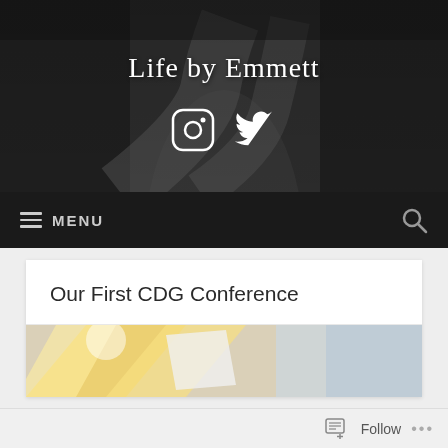[Figure (photo): Black and white photo of a winding road through trees forming the blog header background]
Life by Emmett
[Figure (illustration): Instagram and Twitter social media icons in white]
≡ MENU
Our First CDG Conference
[Figure (photo): Colorful abstract image partially visible at bottom of post card]
Follow